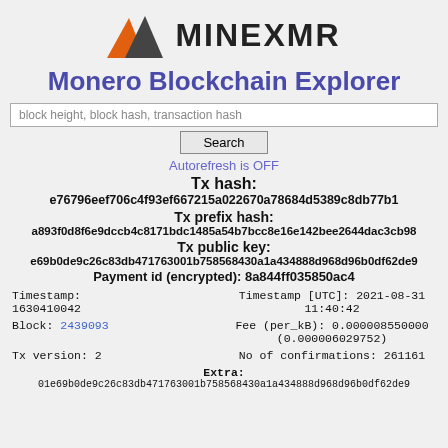[Figure (logo): MineXMR logo: orange and dark grey mountain triangles with MINEXMR text]
Monero Blockchain Explorer
block height, block hash, transaction hash [Search]
Autorefresh is OFF
Tx hash: e76796eef706c4f93ef667215a022670a78684d5389c8db77b1...
Tx prefix hash: a893f0d8f6e9dccb4c8171bdc1485a54b7bcc8e16e142bee2644dac3cb98...
Tx public key: e69b0de9c26c83db471763001b758568430a1a434888d968d96b0df62de9...
Payment id (encrypted): 8a844ff035850ac4
| Timestamp:
1630410042 | Timestamp [UTC]: 2021-08-31 11:40:42 |
| Block: 2439093 | Fee (per_kB): 0.000008550000
(0.000006029752) |
| Tx version: 2 | No of confirmations: 261161 |
Extra:
01e69b0de9c26c83db471763001b758568430a1a434888d968d96b0df62de9...